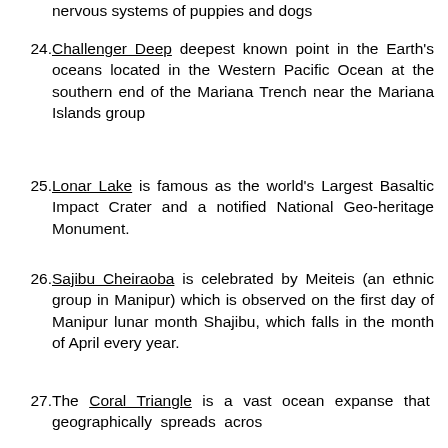nervous systems of puppies and dogs (partial, top cut off)
24. Challenger Deep deepest known point in the Earth's oceans located in the Western Pacific Ocean at the southern end of the Mariana Trench near the Mariana Islands group
25. Lonar Lake is famous as the world's Largest Basaltic Impact Crater and a notified National Geo-heritage Monument.
26. Sajibu Cheiraoba is celebrated by Meiteis (an ethnic group in Manipur) which is observed on the first day of Manipur lunar month Shajibu, which falls in the month of April every year.
27. The Coral Triangle is a vast ocean expanse that geographically spreads across countries in Asia and the Pacific: Indonesia, Malaysia, Philippines, Papua New Guinea,